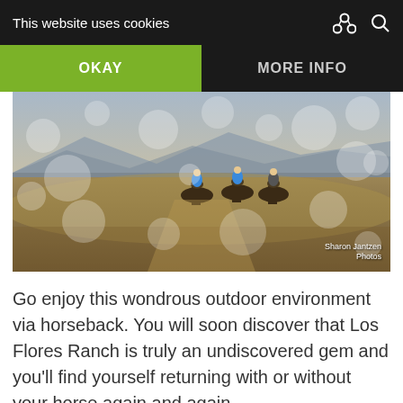This website uses cookies
OKAY
MORE INFO
[Figure (photo): Three horseback riders in blue shirts riding across a dry golden hillside landscape with mountains in the background and bokeh light orbs overlay. Photo credit: Sharon Jantzen Photos.]
Go enjoy this wondrous outdoor environment via horseback. You will soon discover that Los Flores Ranch is truly an undiscovered gem and you’ll find yourself returning with or without your horse again and again.